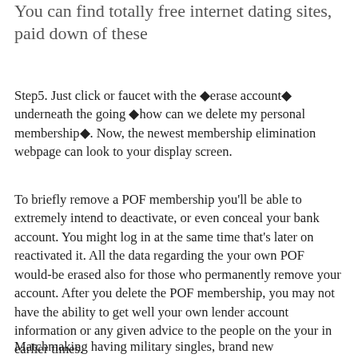You can find totally free internet dating sites, paid down of these
Step5. Just click or faucet with the ◆erase account◆ underneath the going ◆how can we delete my personal membership◆. Now, the newest membership elimination webpage can look to your display screen.
To briefly remove a POF membership you'll be able to extremely intend to deactivate, or even conceal your bank account. You might log in at the same time that's later on reactivated it. All the data regarding the your own POF would-be erased also for those who permanently remove your account. After you delete the POF membership, you may not have the ability to get well your own lender account information or any given advice to the people on the your in earlier times.
Matchmaking having military singles, brand new